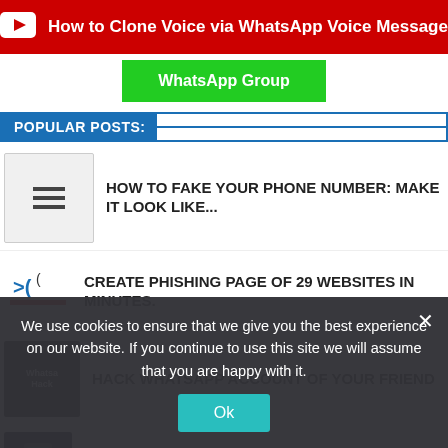[Figure (screenshot): YouTube red banner with play icon and text: How to Clone Voice via WhatsApp Voice Message]
WhatsApp Group
POPULAR POSTS:
HOW TO FAKE YOUR PHONE NUMBER: MAKE IT LOOK LIKE...
CREATE PHISHING PAGE OF 29 WEBSITES IN MINUTES.
HACK WHATSAPP ACCOUNT OF YOUR FRIEND
HOW TO INTERCEPT MOBILE COMMUNICATIONS (CALLS AND...
FAKE TEXT MESSAGE ATTACK: HOW PRANK OR HACK
We use cookies to ensure that we give you the best experience on our website. If you continue to use this site we will assume that you are happy with it.